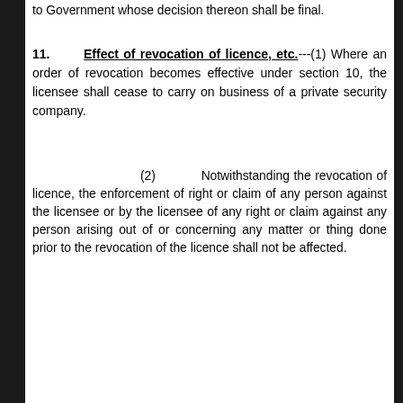to Government whose decision thereon shall be final.
11. Effect of revocation of licence, etc.---(1) Where an order of revocation becomes effective under section 10, the licensee shall cease to carry on business of a private security company.
(2) Notwithstanding the revocation of licence, the enforcement of right or claim of any person against the licensee or by the licensee of any right or claim against any person arising out of or concerning any matter or thing done prior to the revocation of the licence shall not be affected.